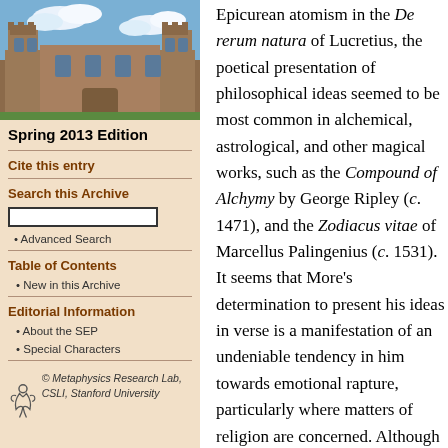[Figure (photo): Photo of a stone university building with Gothic architecture and blue sky with clouds]
Spring 2013 Edition
Cite this entry
Search this Archive
Advanced Search
Table of Contents
New in this Archive
Editorial Information
About the SEP
Special Characters
[Figure (logo): Metaphysics Research Lab logo with stylized figure]
© Metaphysics Research Lab, CSLI, Stanford University
Epicurean atomism in the De rerum natura of Lucretius, the poetical presentation of philosophical ideas seemed to be most common in alchemical, astrological, and other magical works, such as the Compound of Alchymy by George Ripley (c. 1471), and the Zodiacus vitae of Marcellus Palingenius (c. 1531). It seems that More's determination to present his ideas in verse is a manifestation of an undeniable tendency in him towards emotional rapture, particularly where matters of religion are concerned. Although intellectually committed to rationalism in religion, More's personal religious feelings were